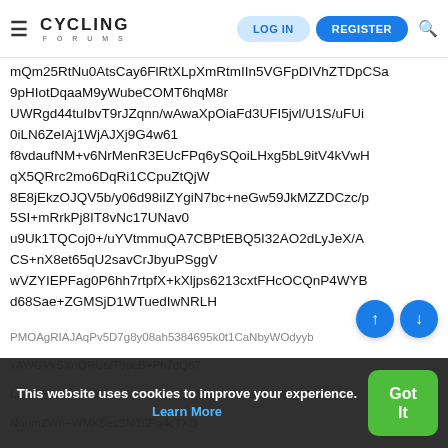Cycling Forums — LOG IN | REGISTER
mQm25RtNu0AtsCay6FlRtXLpXmRtmIIn5VGFpDIVhZTDpCSa 9pHIotDqaaM9yWubeCOMT6hqM8r UWRgd44tuIbvT9rJZqnn/wAwaXpOiaFd3UFI5jvl/U1S/uFUi 0iLN6ZeIAj1WjAJXj9G4w61 f8vdaufNM+v6NrMenR3EUcFPq6ySQoiLHxg5bL9itV4kVwH qX5QRrc2mo6DqRi1CCpuZtQjW 8E8jEkzOJQV5b/y06d98iIZYgiN7bc+neGw59JkMZZDCzc/p 5SI+mRrkPj8IT8vNc17UNav0 u9Uk1TQCoj0+/uYVtmmuQA7CBPtEBQ5I32AO2dLyJeX/A CS+nX8et65qU2savCrJbyuPSggV wVZYIEPFag0P6hh7rtpfX+kXljps6213cxtFHcOCQnP4WYB d68Sae+ZGMSjD1WTuedIwNRLH
PMOAgRIAJAqPv5D7g8y08ah5384695k0t1CaNbyWOdyyb xAWGVkSXoQRUs/T9pcB+Pb7dQ87 LZedLK5fzTOlv2d9czCeMqFc1ODp8KNRuTeHw5I7T8v/AD NoumZWn+WMK6esSM16Pq4cTXD sS0tWJ6LxVRToMMvLnkGTTNYPmPXtVl1rWRGYoZoF4JE
This website uses cookies to improve your experience. Learn More
Got It